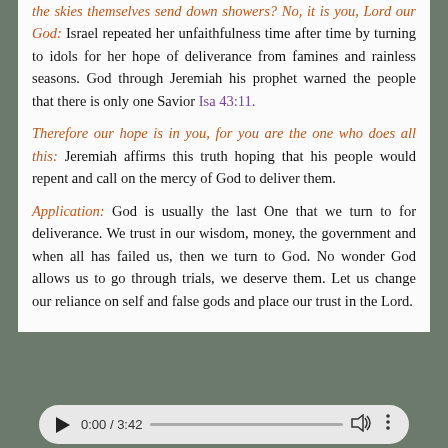the skies themselves send down showers? No, it is you, Lord our God: Israel repeated her unfaithfulness time after time by turning to idols for her hope of deliverance from famines and rainless seasons. God through Jeremiah his prophet warned the people that there is only one Savior Isa 43:11.
Therefore our hope is in you, for you are the one who does all this: Jeremiah affirms this truth hoping that his people would repent and call on the mercy of God to deliver them.
Application: God is usually the last One that we turn to for deliverance. We trust in our wisdom, money, the government and when all has failed us, then we turn to God. No wonder God allows us to go through trials, we deserve them. Let us change our reliance on self and false gods and place our trust in the Lord.
[Figure (other): Audio player bar showing play button, time 0:00 / 3:42, progress bar, volume icon, and more options icon]